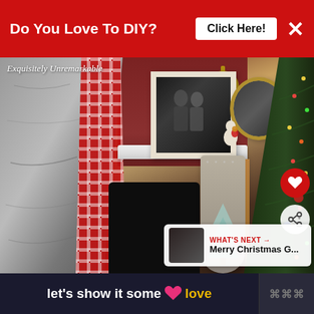[Figure (screenshot): Website page showing a photo of a Christmas/holiday home interior with a fireplace mantel decorated with family photos, Christmas stockings, and holiday decor. A Christmas tree with lights is visible on the right. On the left is a rock/stone wall with red plaid wrapping or stocking. Wooden painted signs with Christmas tree motifs are visible in the center.]
Exquisitely Unremarkable
Do You Love To DIY?
Click Here!
WHAT'S NEXT →
Merry Christmas G...
let's show it some love